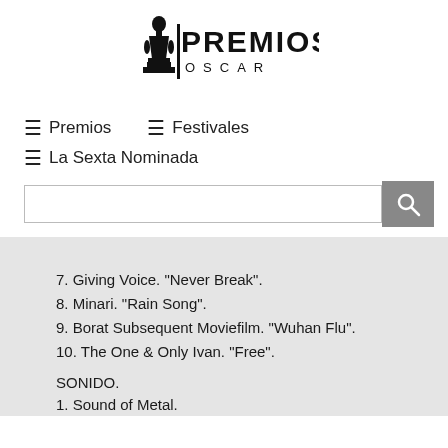[Figure (logo): Premios Oscar logo with Oscar statuette and text PREMIOS OSCAR]
≡ Premios
≡ Festivales
≡ La Sexta Nominada
7. Giving Voice. "Never Break".
8. Minari. "Rain Song".
9. Borat Subsequent Moviefilm. "Wuhan Flu".
10. The One & Only Ivan. "Free".
SONIDO.
1. Sound of Metal.